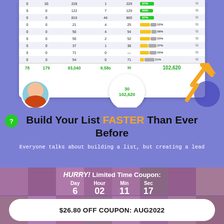[Figure (screenshot): Screenshot of a data table showing email list metrics with columns for numbers and colored progress bars. Totals row shows: 78, 179, 93,040, 9,580, 30, 102,620]
Build Your List FASTER Than Ever Before
Everyone talks about building a list, but creating a lead
HURRY! Limited Time Coupon: Day 6 Hour 02 Min 11 Sec 17
$26.80 OFF COUPON: AUG2022